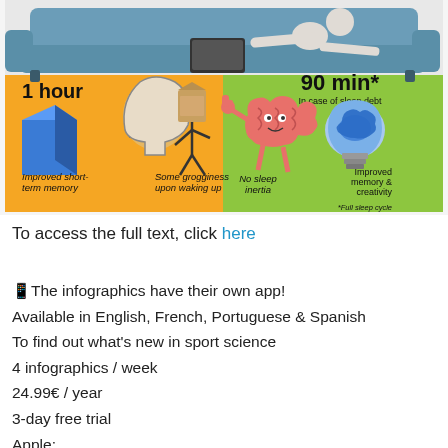[Figure (infographic): Infographic about nap durations showing two panels: left orange panel with '1 hour' nap showing improved short-term memory but some grogginess upon waking up, illustrated with a brain with a highlighted block and a groggy figure; right green panel with '90 min* in case of sleep debt' nap showing no sleep inertia and improved memory & creativity, illustrated with a happy brain character and a light bulb with a brain inside. Top portion shows a cartoon figure lying on a sofa. *Full sleep cycle note at bottom right.]
To access the full text, click here
📱The infographics have their own app!
Available in English, French, Portuguese & Spanish
To find out what's new in sport science
4 infographics / week
24.99€ / year
3-day free trial
Apple:
https://itunes.apple.com/fr/app/ylmsportscience/id